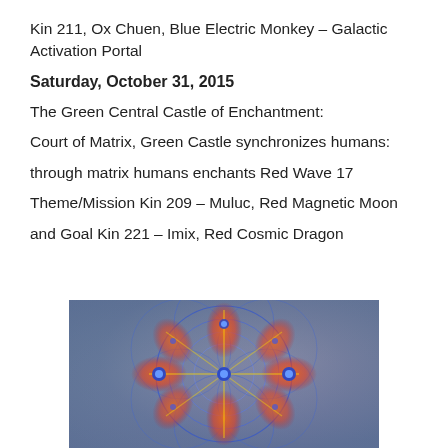Kin 211, Ox Chuen, Blue Electric Monkey – Galactic Activation Portal
Saturday, October 31, 2015
The Green Central Castle of Enchantment:
Court of Matrix, Green Castle synchronizes humans:
through matrix humans enchants Red Wave 17
Theme/Mission Kin 209 – Muluc, Red Magnetic Moon
and Goal Kin 221 – Imix, Red Cosmic Dragon
[Figure (illustration): Colorful geometric mandala-like illustration with blue circular arcs, red and orange glowing petal shapes, and blue dot accents on a gradient green-purple-blue background.]